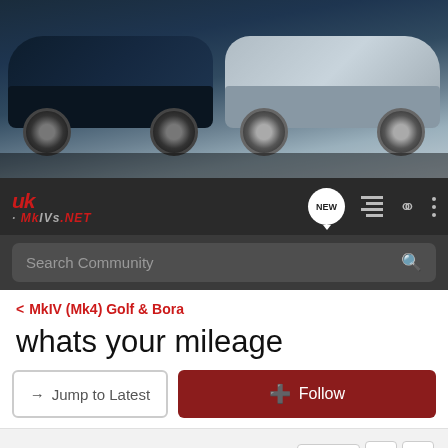[Figure (photo): Two VW Golf Mk4 cars parked side by side — one dark navy blue on the left, one silver on the right — photographed outdoors near a building.]
[Figure (logo): UK-MkIVs.NET forum logo in red and grey italic text]
Search Community
< MkIV (Mk4) Golf & Bora
whats your mileage
→ Jump to Latest
+ Follow
1 - 20 of 88 Posts
1 of 5
scottyGTi · Registered